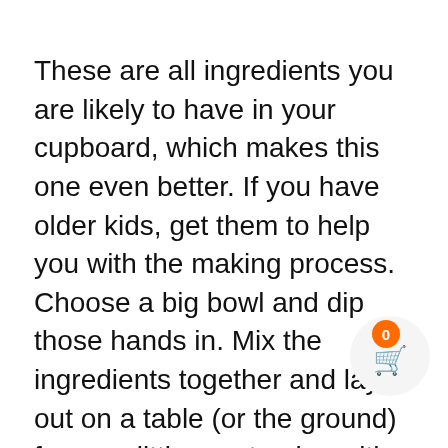These are all ingredients you are likely to have in your cupboard, which makes this one even better. If you have older kids, get them to help you with the making process. Choose a big bowl and dip those hands in. Mix the ingredients together and lay it out on a table (or the ground) for your little one to play with.
Have fun with it! You can get out any playdough cutters you have, or simply find things around the house to play with. St pegs, forks, leaves and anything else you can